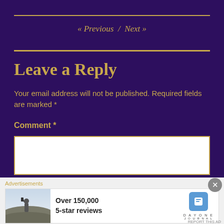« Previous / Next »
Leave a Reply
Your email address will not be published. Required fields are marked *
Comment *
[Figure (screenshot): Advertisement banner with photo of person on hilltop, Over 150,000 5-star reviews text, and Day One Journal logo]